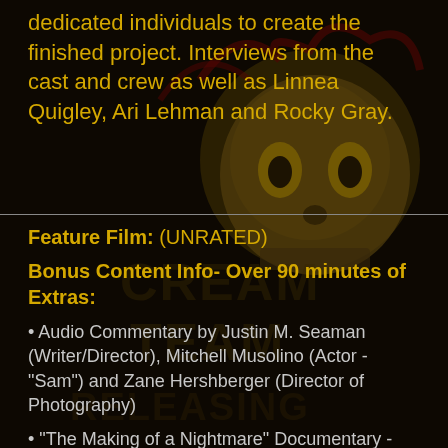dedicated individuals to create the finished project. Interviews from the cast and crew as well as Linnea Quigley, Ari Lehman and Rocky Gray.
Feature Film: (UNRATED)
Bonus Content Info- Over 90 minutes of Extras:
• Audio Commentary by Justin M. Seaman (Writer/Director), Mitchell Musolino (Actor - "Sam") and Zane Hershberger (Director of Photography)
• “The Making of a Nightmare” Documentary - Cast and Crew Interviews (Including Ari Lehman, Linnea Quigley and Rocky Gray)
• Gag Reel